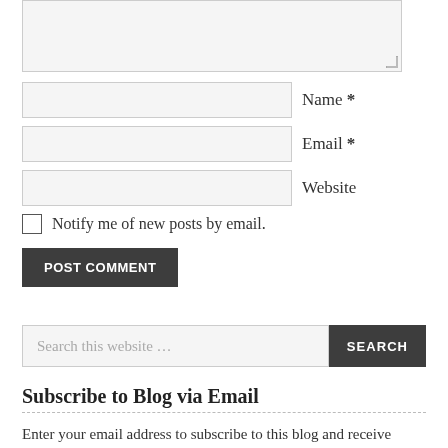[Figure (screenshot): A text area input box (grey background, resizable) at the top of the page]
Name *
Email *
Website
Notify me of new posts by email.
POST COMMENT
Search this website …
SEARCH
Subscribe to Blog via Email
Enter your email address to subscribe to this blog and receive notifications of new posts by email.